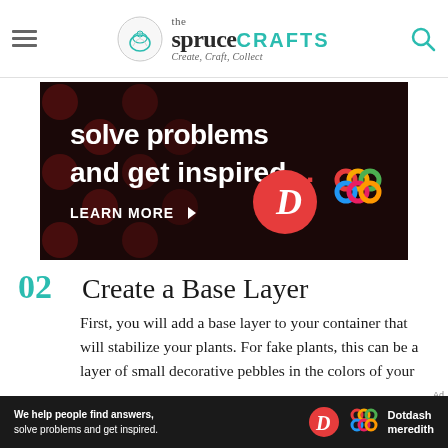the spruce CRAFTS — Create, Craft, Collect
[Figure (screenshot): Dark advertisement banner with text 'solve problems and get inspired.' and 'LEARN MORE' button, with Dotdash and multicolor knot logos]
02 Create a Base Layer
First, you will add a base layer to your container that will stabilize your plants. For fake plants, this can be a layer of small decorative pebbles in the colors of your
[Figure (screenshot): Black advertisement bar at bottom: 'We help people find answers, solve problems and get inspired.' with Dotdash D logo and Dotdash Meredith text]